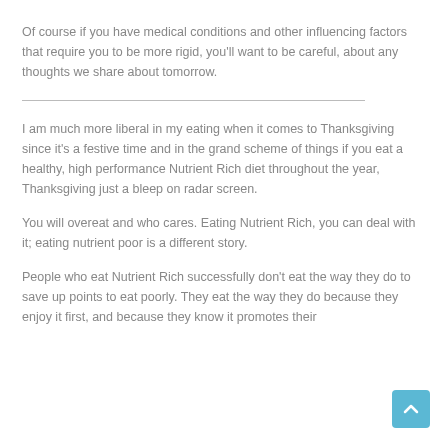Of course if you have medical conditions and other influencing factors that require you to be more rigid, you'll want to be careful, about any thoughts we share about tomorrow.
I am much more liberal in my eating when it comes to Thanksgiving since it's a festive time and in the grand scheme of things if you eat a healthy, high performance Nutrient Rich diet throughout the year, Thanksgiving just a bleep on radar screen.
You will overeat and who cares. Eating Nutrient Rich, you can deal with it; eating nutrient poor is a different story.
People who eat Nutrient Rich successfully don't eat the way they do to save up points to eat poorly. They eat the way they do because they enjoy it first, and because they know it promotes their